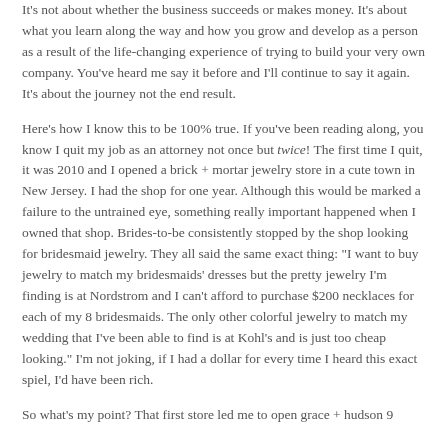It's not about whether the business succeeds or makes money. It's about what you learn along the way and how you grow and develop as a person as a result of the life-changing experience of trying to build your very own company. You've heard me say it before and I'll continue to say it again. It's about the journey not the end result.
Here's how I know this to be 100% true. If you've been reading along, you know I quit my job as an attorney not once but twice! The first time I quit, it was 2010 and I opened a brick + mortar jewelry store in a cute town in New Jersey. I had the shop for one year. Although this would be marked a failure to the untrained eye, something really important happened when I owned that shop. Brides-to-be consistently stopped by the shop looking for bridesmaid jewelry. They all said the same exact thing: "I want to buy jewelry to match my bridesmaids' dresses but the pretty jewelry I'm finding is at Nordstrom and I can't afford to purchase $200 necklaces for each of my 8 bridesmaids. The only other colorful jewelry to match my wedding that I've been able to find is at Kohl's and is just too cheap looking." I'm not joking, if I had a dollar for every time I heard this exact spiel, I'd have been rich.
So what's my point? That first store led me to open grace + hudson 9